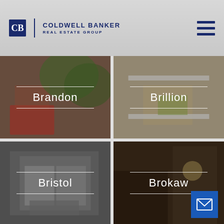[Figure (logo): Coldwell Banker Real Estate Group logo with hamburger menu icon]
[Figure (photo): Brandon - real estate location card showing outdoor porch with colorful pillows]
[Figure (photo): Brillion - real estate location card showing bright interior room]
[Figure (photo): Bristol - real estate location card showing window with sliding doors]
[Figure (photo): Brokaw - real estate location card showing exterior home at night with email contact button]